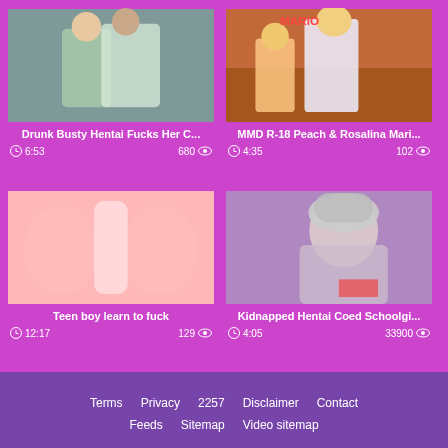[Figure (screenshot): Video thumbnail: anime scene with two female characters, one in green outfit]
Drunk Busty Hentai Fucks Her C...
6:53  680
[Figure (screenshot): Video thumbnail: 3D animated game characters, blonde female in white outfit, arcade background]
MMD R-18 Peach & Rosalina Mari...
4:35  102
[Figure (screenshot): Video thumbnail: hentai anime close-up]
Teen boy learn to fuck
12:17  129
[Figure (screenshot): Video thumbnail: anime schoolgirl with grey hair]
Kidnapped Hentai Coed Schoolgi...
4:05  33900
Terms  Privacy  2257  Disclaimer  Contact  Feeds  Sitemap  Video sitemap